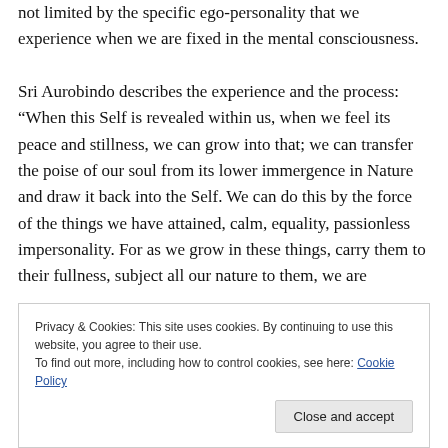not limited by the specific ego-personality that we experience when we are fixed in the mental consciousness.

Sri Aurobindo describes the experience and the process: “When this Self is revealed within us, when we feel its peace and stillness, we can grow into that; we can transfer the poise of our soul from its lower immergence in Nature and draw it back into the Self. We can do this by the force of the things we have attained, calm, equality, passionless impersonality. For as we grow in these things, carry them to their fullness, subject all our nature to them, we are
Privacy & Cookies: This site uses cookies. By continuing to use this website, you agree to their use.
To find out more, including how to control cookies, see here: Cookie Policy